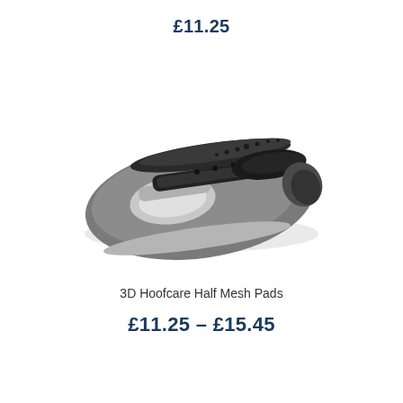£11.25
[Figure (photo): 3D Hoofcare Half Mesh Pad product photo — a dark grey/black oval-shaped equine hoof pad with a mesh cutout section and a raised ridge running along the top, photographed at an angle on a white background.]
3D Hoofcare Half Mesh Pads
£11.25 – £15.45